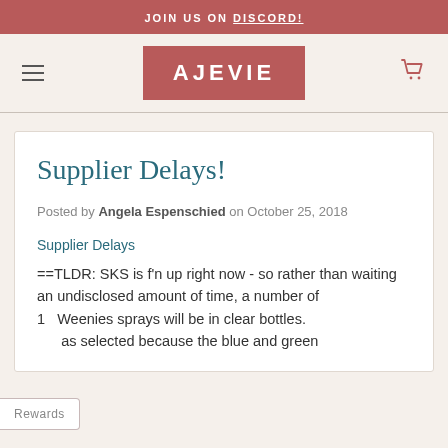JOIN US ON DISCORD!
AJEVIE
Supplier Delays!
Posted by Angela Espenschied on October 25, 2018
Supplier Delays
==TLDR: SKS is f'n up right now - so rather than waiting an undisclosed amount of time, a number of 1... Weenies sprays will be in clear bottles. ...as selected because the blue and green